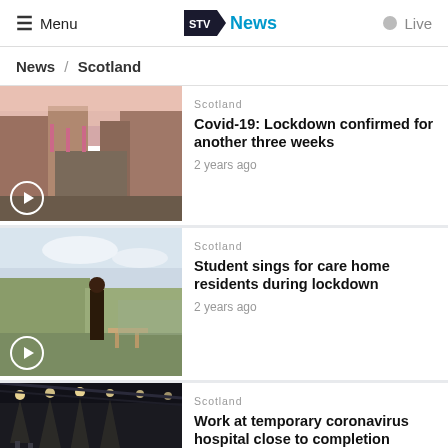Menu | STV News | Live
News / Scotland
[Figure (photo): Street view of a Scottish city with historic sandstone buildings, empty road, pink banners, dusk sky]
Scotland
Covid-19: Lockdown confirmed for another three weeks
2 years ago
[Figure (photo): Person standing outdoors with trees and parked cars in background, overcast sky]
Scotland
Student sings for care home residents during lockdown
2 years ago
[Figure (photo): Large indoor temporary hospital space with overhead lighting and industrial ceiling]
Scotland
Work at temporary coronavirus hospital close to completion